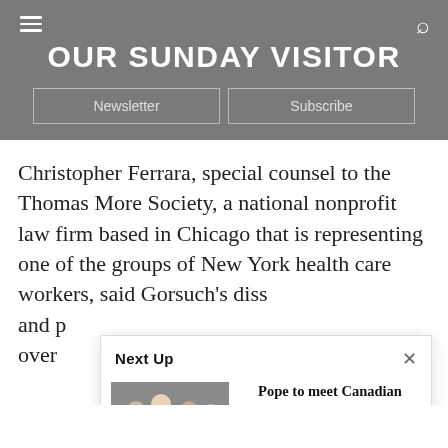OUR SUNDAY VISITOR
Newsletter   Subscribe
Christopher Ferrara, special counsel to the Thomas More Society, a national nonprofit law firm based in Chicago that is representing one of the groups of New York health care workers, said Gorsuch's diss and p over
[Figure (screenshot): Next Up overlay popup with image of people at a table and headline: Pope to meet Canadian Indigenous leaders in the spring, bishop says. Source: Catholic News Service • December 14, 2021]
In a s coun free